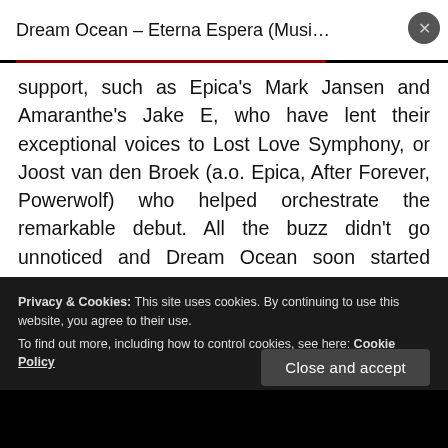Dream Ocean – Eterna Espera (Musi…
support, such as Epica's Mark Jansen and Amaranthe's Jake E, who have lent their exceptional voices to Lost Love Symphony, or Joost van den Broek (a.o. Epica, After Forever, Powerwolf) who helped orchestrate the remarkable debut. All the buzz didn't go unnoticed and Dream Ocean soon started playing festivals all over Europe and have successfully opened for Epica and Myrath.
Privacy & Cookies: This site uses cookies. By continuing to use this website, you agree to their use. To find out more, including how to control cookies, see here: Cookie Policy
Close and accept